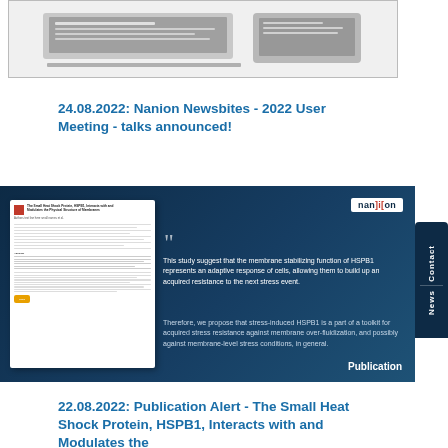[Figure (illustration): Screenshot of a website showing a laptop and tablet device display, inside a bordered box]
24.08.2022: Nanion Newsbites - 2022 User Meeting - talks announced!
[Figure (infographic): Dark navy blue card with a nanion logo, quote marks, text about HSPB1 membrane stabilizing function, and a paper thumbnail on the left. Label 'Publication' in bottom right.]
This study suggest that the membrane stabilizing function of HSPB1 represents an adaptive response of cells, allowing them to build up an acquired resistance to the next stress event.
Therefore, we propose that stress-induced HSPB1 is a part of a toolkit for acquired stress resistance against membrane over-fluidization, and possibly against membrane-level stress conditions, in general.
22.08.2022: Publication Alert - The Small Heat Shock Protein, HSPB1, Interacts with and Modulates the